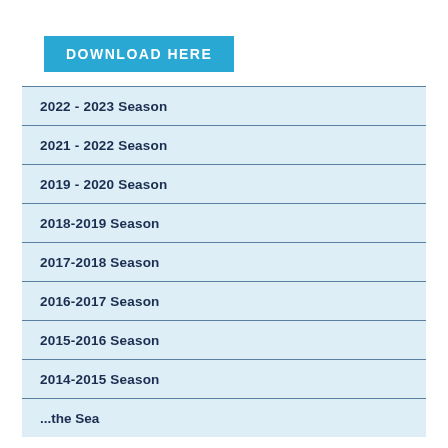DOWNLOAD HERE
2022 - 2023 Season
2021 - 2022 Season
2019 - 2020 Season
2018-2019 Season
2017-2018 Season
2016-2017 Season
2015-2016 Season
2014-2015 Season
...the Season